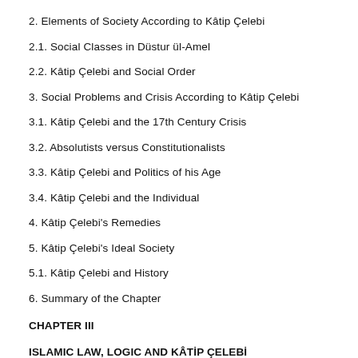2. Elements of Society According to Kâtip Çelebi
2.1. Social Classes in Düstur ül-Amel
2.2. Kâtip Çelebi and Social Order
3. Social Problems and Crisis According to Kâtip Çelebi
3.1. Kâtip Çelebi and the 17th Century Crisis
3.2. Absolutists versus Constitutionalists
3.3. Kâtip Çelebi and Politics of his Age
3.4. Kâtip Çelebi and the Individual
4. Kâtip Çelebi's Remedies
5. Kâtip Çelebi's Ideal Society
5.1. Kâtip Çelebi and History
6. Summary of the Chapter
CHAPTER III
ISLAMIC LAW, LOGIC AND KÂTİP ÇELEBİ
1. The Sources